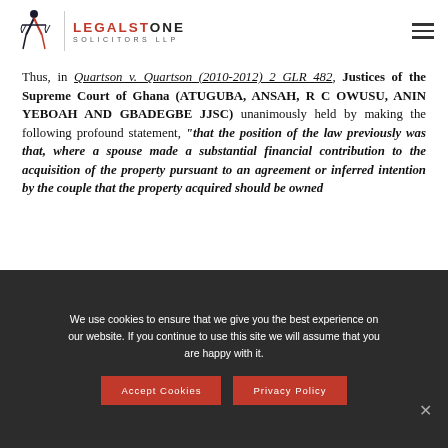Legalstone Solicitors LLP
Thus, in Quartson v. Quartson (2010-2012) 2 GLR 482, Justices of the Supreme Court of Ghana (ATUGUBA, ANSAH, R C OWUSU, ANIN YEBOAH AND GBADEGBE JJSC) unanimously held by making the following profound statement, “that the position of the law previously was that, where a spouse made a substantial financial contribution to the acquisition of the property pursuant to an agreement or inferred intention by the couple that the property acquired should be owned
We use cookies to ensure that we give you the best experience on our website. If you continue to use this site we will assume that you are happy with it.